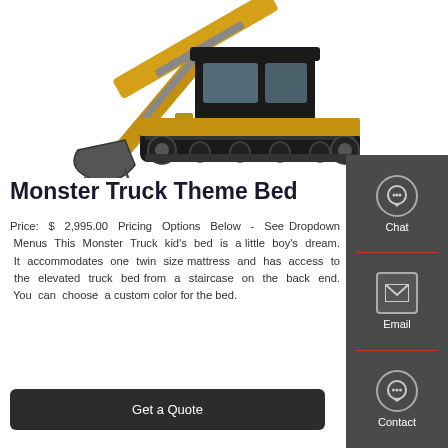[Figure (photo): Yellow excavator/construction machine on white background, showing the boom arm with bucket on left and the cab/body on right]
Monster Truck Theme Bed
Price: $ 2,995.00 Pricing Options Below - See Dropdown Menus This Monster Truck kid's bed is a little boy's dream. It accommodates one twin size mattress and has access to the elevated truck bed from a staircase on the back end. You can choose a custom color for the bed.
[Figure (infographic): Dark grey sidebar with Chat, Email, and Contact icon buttons]
Get a Quote